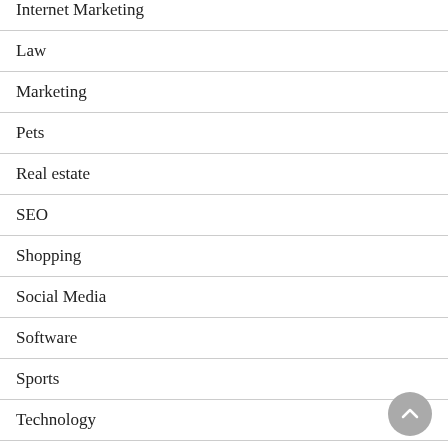Internet Marketing
Law
Marketing
Pets
Real estate
SEO
Shopping
Social Media
Software
Sports
Technology
Travel